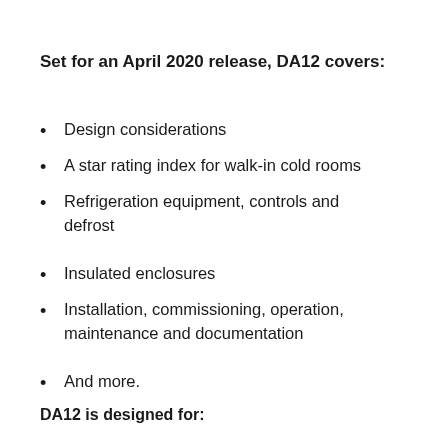Set for an April 2020 release, DA12 covers:
Design considerations
A star rating index for walk-in cold rooms
Refrigeration equipment, controls and defrost
Insulated enclosures
Installation, commissioning, operation, maintenance and documentation
And more.
DA12 is designed for:
As the definitive reference for walk-in cold room energy efficiency in Australia, this manual is